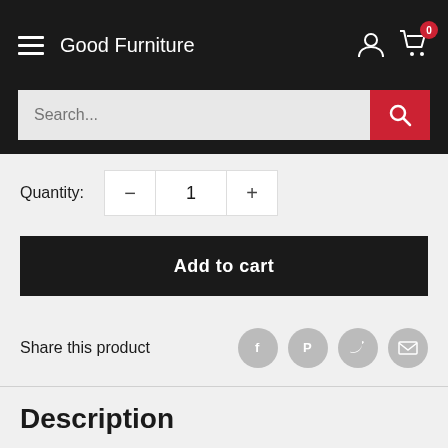Good Furniture
Search...
Quantity: − 1 +
Add to cart
Share this product
Description
Assembled size
Width 48...